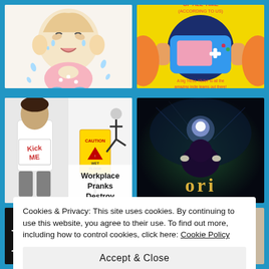[Figure (illustration): Cartoon crying baby character illustration]
[Figure (illustration): Yellow background book/game cover with handheld gaming device and text about 'HELL YEAH']
[Figure (illustration): Workplace Pranks Destroy - photo of child with 'Kick Me' sign on back and caution wet floor sign]
[Figure (photo): Ori and the Blind Forest game cover - dark atmospheric image with glowing character]
Cookies & Privacy: This site uses cookies. By continuing to use this website, you agree to their use. To find out more, including how to control cookies, click here: Cookie Policy
Accept & Close
[Figure (illustration): Bottom strip showing partial text 'BE BA GUN' and partial face photo]
[Figure (photo): Bottom right partial portrait photo]